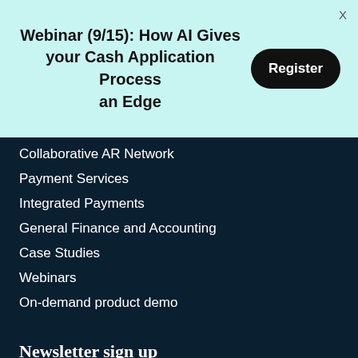Webinar (9/15): How AI Gives your Cash Application Process an Edge
Register
Collaborative AR Network
Payment Services
Integrated Payments
General Finance and Accounting
Case Studies
Webinars
On-demand product demo
Newsletter sign up
Subscribe and we'll send you a monthly update on what's happening in the world of AR!